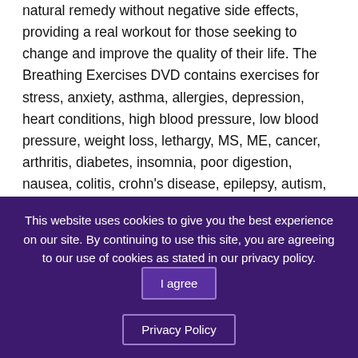natural remedy without negative side effects, providing a real workout for those seeking to change and improve the quality of their life. The Breathing Exercises DVD contains exercises for stress, anxiety, asthma, allergies, depression, heart conditions, high blood pressure, low blood pressure, weight loss, lethargy, MS, ME, cancer, arthritis, diabetes, insomnia, poor digestion, nausea, colitis, crohn's disease, epilepsy, autism, aspergers......... Breathing Exercises – Morning Practice A, is a Breathing Exercises DVD containing Breathing Techniques to help you energise in the morning, boost performance and
This website uses cookies to give you the best experience on our site. By continuing to use this site, you are agreeing to our use of cookies as stated in our privacy policy. I agree Privacy Policy